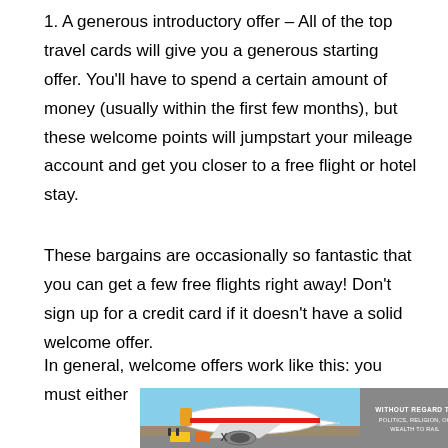1. A generous introductory offer – All of the top travel cards will give you a generous starting offer. You'll have to spend a certain amount of money (usually within the first few months), but these welcome points will jumpstart your mileage account and get you closer to a free flight or hotel stay.
These bargains are occasionally so fantastic that you can get a few free flights right away! Don't sign up for a credit card if it doesn't have a solid welcome offer.
In general, welcome offers work like this: you must either
[Figure (photo): Advertisement banner showing an airplane being loaded with cargo on a tarmac, with a grey sidebar that reads 'WITHOUT REGARD TO POLITICS, RELIGION, OR WEALTH TO RAIL']